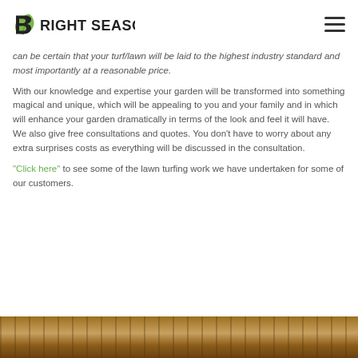Bright Seasons
can be certain that your turf/lawn will be laid to the highest industry standard and most importantly at a reasonable price.
With our knowledge and expertise your garden will be transformed into something magical and unique, which will be appealing to you and your family and in which will enhance your garden dramatically in terms of the look and feel it will have. We also give free consultations and quotes. You don't have to worry about any extra surprises costs as everything will be discussed in the consultation.
"Click here" to see some of the lawn turfing work we have undertaken for some of our customers.
[Figure (photo): Close-up photo of wooden decking or turf panels]